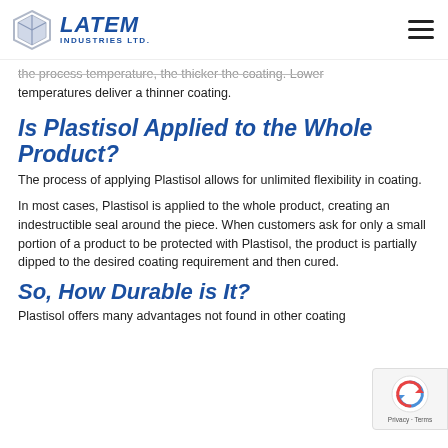Latem Industries Ltd.
the process temperature, the thicker the coating. Lower temperatures deliver a thinner coating.
Is Plastisol Applied to the Whole Product?
The process of applying Plastisol allows for unlimited flexibility in coating.
In most cases, Plastisol is applied to the whole product, creating an indestructible seal around the piece. When customers ask for only a small portion of a product to be protected with Plastisol, the product is partially dipped to the desired coating requirement and then cured.
So, How Durable is It?
Plastisol offers many advantages not found in other coating